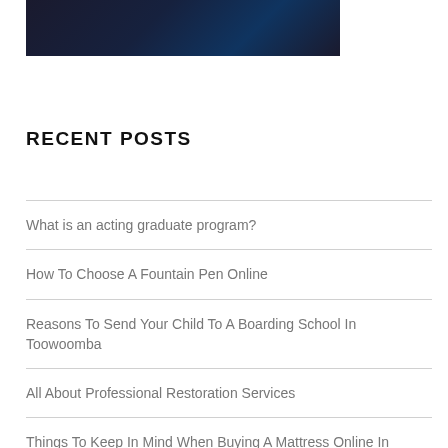[Figure (photo): Dark background photo strip, partially visible at top of page]
RECENT POSTS
What is an acting graduate program?
How To Choose A Fountain Pen Online
Reasons To Send Your Child To A Boarding School In Toowoomba
All About Professional Restoration Services
Things To Keep In Mind When Buying A Mattress Online In Australia